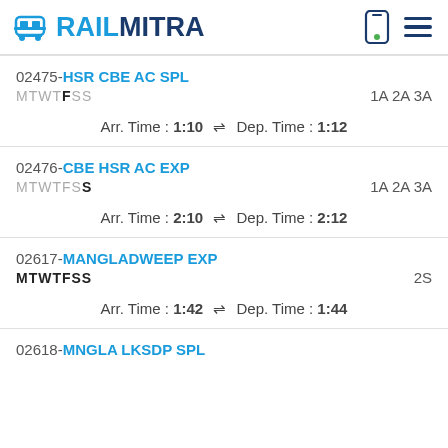RAILMITRA
02475-HSR CBE AC SPL
MTWTFSS	1A 2A 3A
Arr. Time : 1:10 ⇌ Dep. Time : 1:12
02476-CBE HSR AC EXP
MTWTFSS	1A 2A 3A
Arr. Time : 2:10 ⇌ Dep. Time : 2:12
02617-MANGLADWEEP EXP
MTWTFSS	2S
Arr. Time : 1:42 ⇌ Dep. Time : 1:44
02618-MNGLA LKSDP SPL